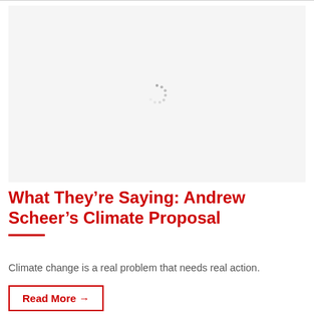[Figure (photo): Image loading placeholder with spinner indicator on light gray background]
What They’re Saying: Andrew Scheer’s Climate Proposal
Climate change is a real problem that needs real action.
Read More →